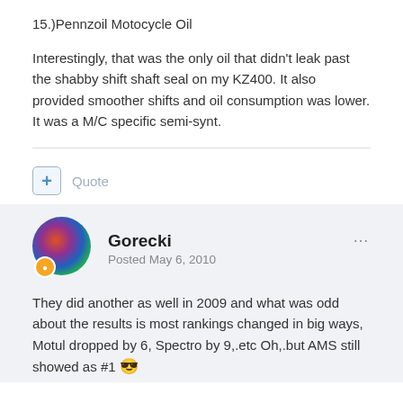15.)Pennzoil Motocycle Oil
Interestingly, that was the only oil that didn't leak past the shabby shift shaft seal on my KZ400. It also provided smoother shifts and oil consumption was lower. It was a M/C specific semi-synt.
Gorecki
Posted May 6, 2010
They did another as well in 2009 and what was odd about the results is most rankings changed in big ways, Motul dropped by 6, Spectro by 9,.etc Oh,.but AMS still showed as #1 😎